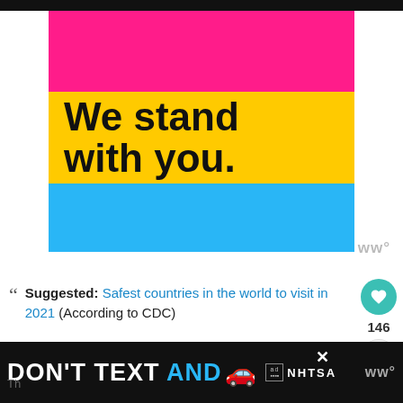[Figure (illustration): Pansexual pride flag colors (pink, yellow, blue stripes) with bold text 'We stand with you.' overlaid on the yellow stripe]
Suggested: Safest countries in the world to visit in 2021 (According to CDC)
[Figure (infographic): Bottom advertisement banner: DON'T TEXT AND [car emoji] NHTSA ad on black background]